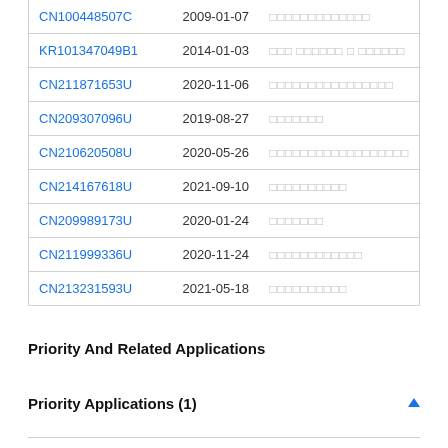| Patent Number | Date | Title |
| --- | --- | --- |
| CN100448507C | 2009-01-07 | □□□□□□□□□□□□□ |
| KR101347049B1 | 2014-01-03 | □□□ □□□□□□ □ □□□□□□ |
| CN211871653U | 2020-11-06 | □□□□□□□□□□□□□□□□ |
| CN209307096U | 2019-08-27 | □□□□□□□ |
| CN210620508U | 2020-05-26 | □□□□□□□□□□□□□□□□□□ |
| CN214167618U | 2021-09-10 | □□□□□□□□□□ |
| CN209989173U | 2020-01-24 | □□□□□□□ |
| CN211999336U | 2020-11-24 | □□□□□□□□□□□□ |
| CN213231593U | 2021-05-18 | □□□□□□□□□□ |
Priority And Related Applications
Priority Applications (1)